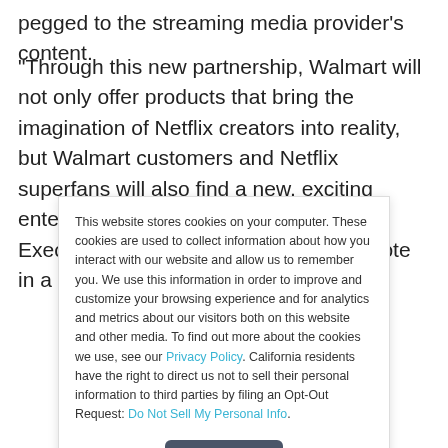pegged to the streaming media provider's content.
“Through this new partnership, Walmart will not only offer products that bring the imagination of Netflix creators into reality, but Walmart customers and Netflix superfans will also find a new, exciting entertainment destination,” Walmart Executive Vice President Jeff Evans wrote in a news release
This website stores cookies on your computer. These cookies are used to collect information about how you interact with our website and allow us to remember you. We use this information in order to improve and customize your browsing experience and for analytics and metrics about our visitors both on this website and other media. To find out more about the cookies we use, see our Privacy Policy. California residents have the right to direct us not to sell their personal information to third parties by filing an Opt-Out Request: Do Not Sell My Personal Info.
Accept